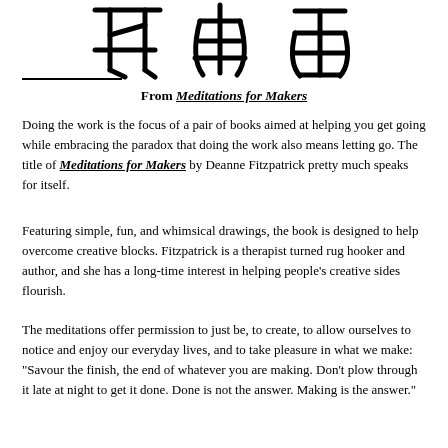[Figure (illustration): Three large hand-drawn or brush-stroke Chinese/Japanese characters in black ink at the top of the page]
From Meditations for Makers
Doing the work is the focus of a pair of books aimed at helping you get going while embracing the paradox that doing the work also means letting go. The title of Meditations for Makers by Deanne Fitzpatrick pretty much speaks for itself.
Featuring simple, fun, and whimsical drawings, the book is designed to help overcome creative blocks. Fitzpatrick is a therapist turned rug hooker and author, and she has a long-time interest in helping people’s creative sides flourish.
The meditations offer permission to just be, to create, to allow ourselves to notice and enjoy our everyday lives, and to take pleasure in what we make: “Savour the finish, the end of whatever you are making. Don’t plow through it late at night to get it done. Done is not the answer. Making is the answer.”